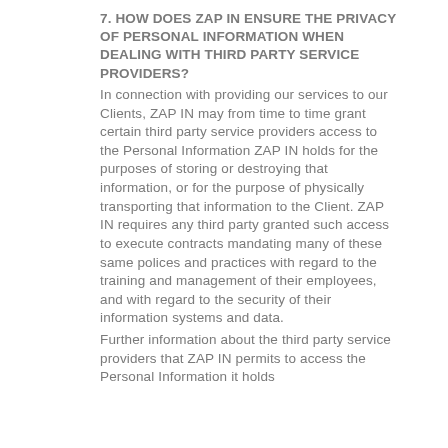7. HOW DOES ZAP IN ENSURE THE PRIVACY OF PERSONAL INFORMATION WHEN DEALING WITH THIRD PARTY SERVICE PROVIDERS?
In connection with providing our services to our Clients, ZAP IN may from time to time grant certain third party service providers access to the Personal Information ZAP IN holds for the purposes of storing or destroying that information, or for the purpose of physically transporting that information to the Client. ZAP IN requires any third party granted such access to execute contracts mandating many of these same polices and practices with regard to the training and management of their employees, and with regard to the security of their information systems and data.
Further information about the third party service providers that ZAP IN permits to access the Personal Information it holds